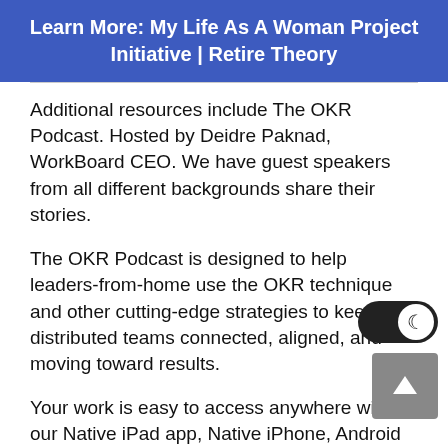Learn More: My Life As A Woman Project Initiative | Retire Theory
Additional resources include The OKR Podcast. Hosted by Deidre Paknad, WorkBoard CEO. We have guest speakers from all different backgrounds share their stories.
The OKR Podcast is designed to help leaders-from-home use the OKR technique and other cutting-edge strategies to keep their distributed teams connected, aligned, and moving toward results.
Your work is easy to access anywhere with our Native iPad app, Native iPhone, Android apps and Slack bot interface. Check out the